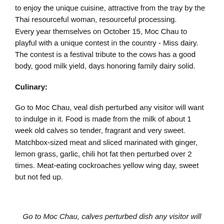to enjoy the unique cuisine, attractive from the tray by the Thai resourceful woman, resourceful processing. Every year themselves on October 15, Moc Chau to playful with a unique contest in the country - Miss dairy. The contest is a festival tribute to the cows has a good body, good milk yield, days honoring family dairy solid.
Culinary:
Go to Moc Chau, veal dish perturbed any visitor will want to indulge in it. Food is made from the milk of about 1 week old calves so tender, fragrant and very sweet. Matchbox-sized meat and sliced marinated with ginger, lemon grass, garlic, chili hot fat then perturbed over 2 times. Meat-eating cockroaches yellow wing day, sweet but not fed up.
Go to Moc Chau, calves perturbed dish any visitor will want to indulge in it.